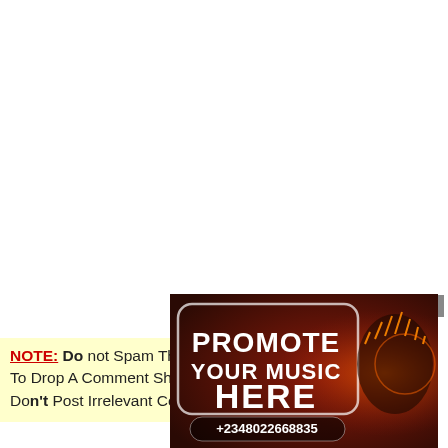[Figure (illustration): A promotional banner with dark red/brown background showing a person with headphones and sound wave graphics. Text reads 'PROMOTE YOUR MUSIC HERE' in large white bold letters with a phone number +2348022668835 below.]
NOTE: Do not Spam The Comment Section When Trying To Drop A Comment Short Comments Are Not Submitted. Don't Post Irrelevant Comments